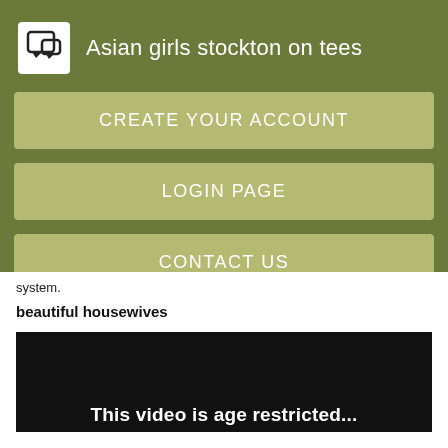Asian girls stockton on tees
CREATE YOUR ACCOUNT
LOGIN PAGE
CONTACT US
system.
beautiful housewives
[Figure (screenshot): Dark video player with partial text 'This video is age restricted...']